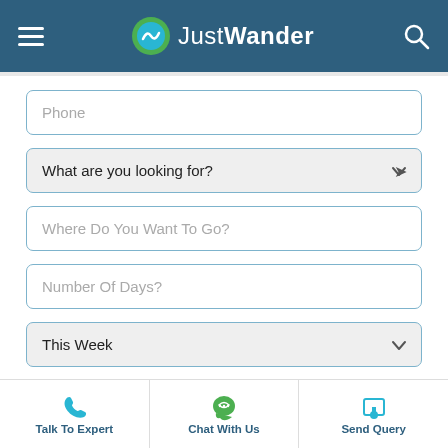JustWander
Phone
What are you looking for?
Where Do You Want To Go?
Number Of Days?
This Week
SUBMIT
Talk To Expert | Chat With Us | Send Query